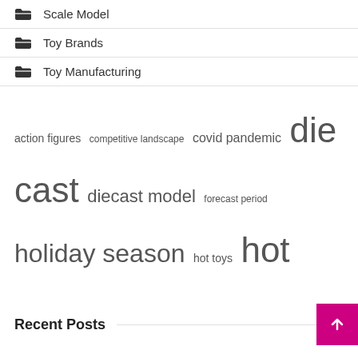Scale Model
Toy Brands
Toy Manufacturing
action figures  competitive landscape  covid pandemic  die cast  diecast model  forecast period  holiday season  hot toys  hot wheels  jada toys  limited edition  market research  market share  model cars  north america  scale models  social media  united states
Recent Posts